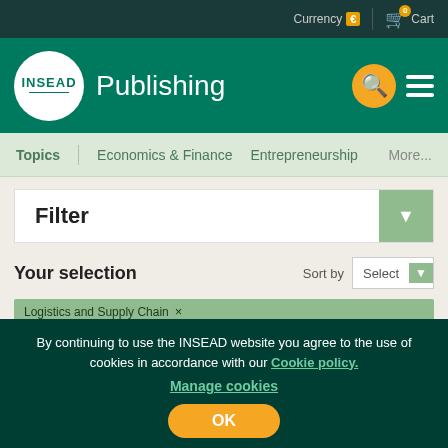Currency € | 0 Cart
INSEAD Publishing
Topics | Economics & Finance | Entrepreneurship | More...
Filter
Your selection Sort by Select
Logistics and Supply Chain ×
English × Clear all
By continuing to use the INSEAD website you agree to the use of cookies in accordance with our Cookie policy. Manage cookies OK